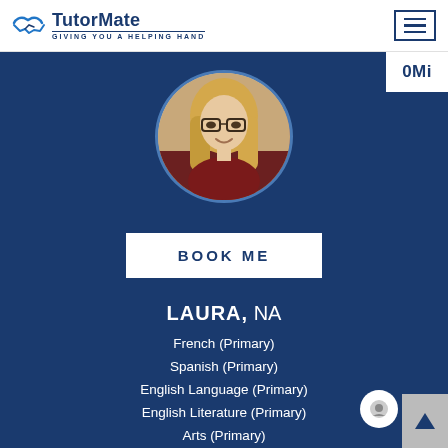TutorMate — GIVING YOU A HELPING HAND
[Figure (photo): Circular profile photo of Laura, a blonde woman with glasses wearing a dark red top, smiling]
BOOK ME
LAURA, NA
French (Primary)
Spanish (Primary)
English Language (Primary)
English Literature (Primary)
Arts (Primary)